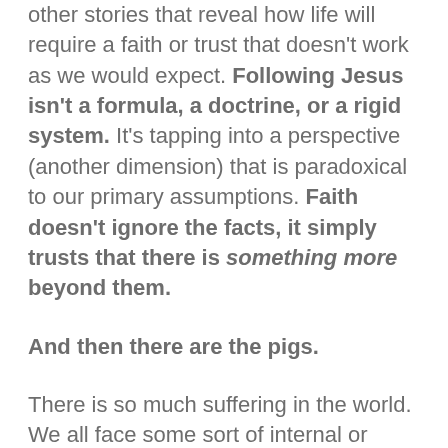other stories that reveal how life will require a faith or trust that doesn't work as we would expect. Following Jesus isn't a formula, a doctrine, or a rigid system. It's tapping into a perspective (another dimension) that is paradoxical to our primary assumptions. Faith doesn't ignore the facts, it simply trusts that there is something more beyond them.
And then there are the pigs.
There is so much suffering in the world. We all face some sort of internal or